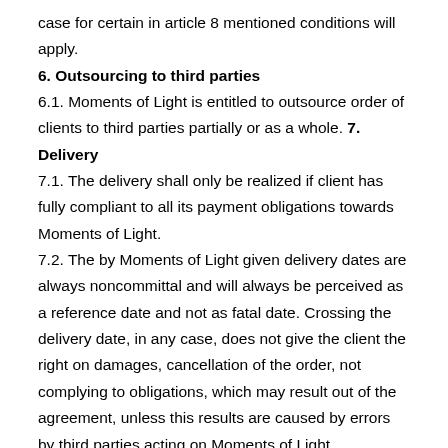case for certain in article 8 mentioned conditions will apply.
6. Outsourcing to third parties
6.1. Moments of Light is entitled to outsource order of clients to third parties partially or as a whole. 7. Delivery
7.1. The delivery shall only be realized if client has fully compliant to all its payment obligations towards Moments of Light.
7.2. The by Moments of Light given delivery dates are always noncommittal and will always be perceived as a reference date and not as fatal date. Crossing the delivery date, in any case, does not give the client the right on damages, cancellation of the order, not complying to obligations, which may result out of the agreement, unless this results are caused by errors by third parties acting on Moments of Light.